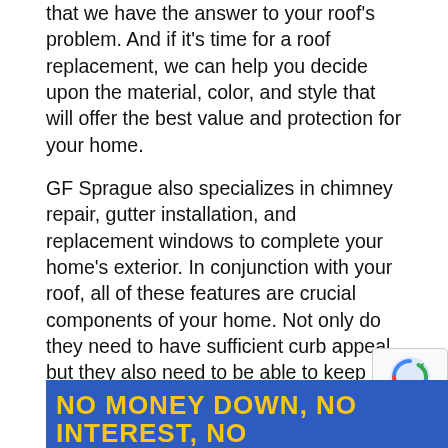that we have the answer to your roof's problem. And if it's time for a roof replacement, we can help you decide upon the material, color, and style that will offer the best value and protection for your home.
GF Sprague also specializes in chimney repair, gutter installation, and replacement windows to complete your home's exterior. In conjunction with your roof, all of these features are crucial components of your home. Not only do they need to have sufficient curb appeal, but they also need to be able to keep you safe and comfortable. Our gutters will ensure that your property experiences no soil erosion or water problems around your foundation, while our efficient, stylish replacement windows will improve your home's appearance and even lower energy costs!
[Figure (other): Blue banner with yellow bold text reading NO MONEY DOWN, NO INTEREST, NO]